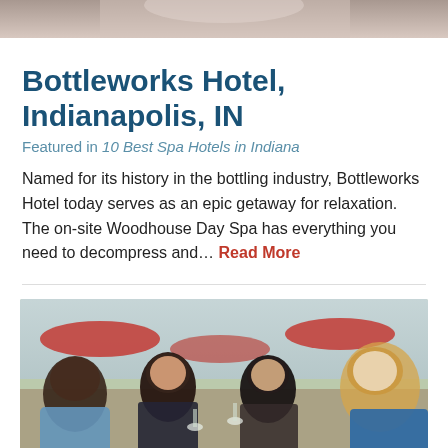[Figure (photo): Top portion of a person, partially cropped photo at the top of the page]
Bottleworks Hotel, Indianapolis, IN
Featured in 10 Best Spa Hotels in Indiana
Named for its history in the bottling industry, Bottleworks Hotel today serves as an epic getaway for relaxation. The on-site Woodhouse Day Spa has everything you need to decompress and... Read More
[Figure (photo): Four women laughing and toasting with wine glasses at an outdoor restaurant with red umbrellas in the background]